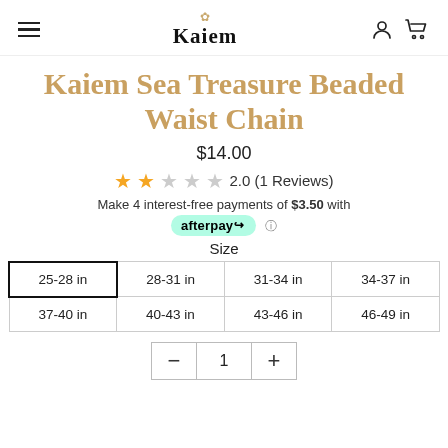Kaiem
Kaiem Sea Treasure Beaded Waist Chain
$14.00
2.0 (1 Reviews)
Make 4 interest-free payments of $3.50 with afterpay
Size
| 25-28 in | 28-31 in | 31-34 in | 34-37 in |
| 37-40 in | 40-43 in | 43-46 in | 46-49 in |
- 1 +